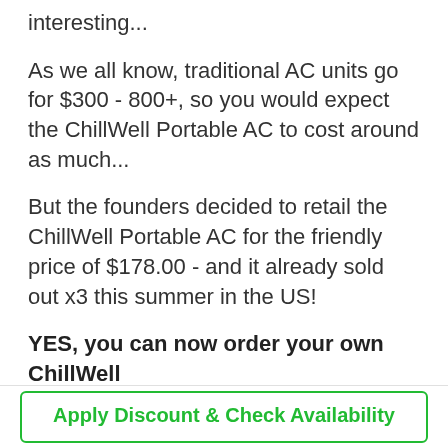interesting...
As we all know, traditional AC units go for $300 - 800+, so you would expect the ChillWell Portable AC to cost around as much...
But the founders decided to retail the ChillWell Portable AC for the friendly price of $178.00 - and it already sold out x3 this summer in the US!
YES, you can now order your own ChillWell
Apply Discount & Check Availability